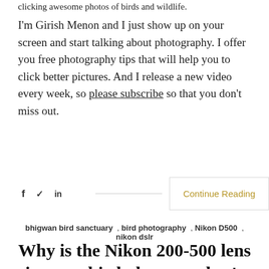clicking awesome photos of birds and wildlife.
I'm Girish Menon and I just show up on your screen and start talking about photography. I offer you free photography tips that will help you to click better pictures. And I release a new video every week, so please subscribe so that you don't miss out.
f  ✓  in   Continue Reading
bhigwan bird sanctuary , bird photography , Nikon D500 , nikon dslr
Why is the Nikon 200-500 lens is every bird photographer's dream in 2022?